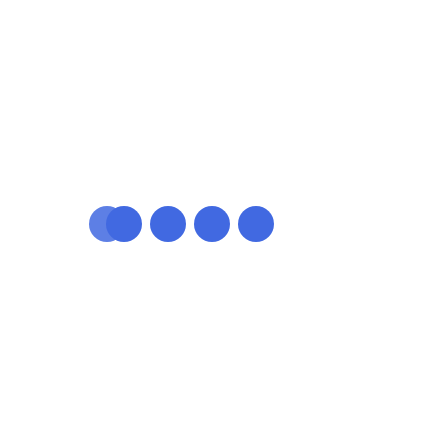[Figure (other): Five blue filled circles arranged horizontally near the vertical center of the page. The leftmost circle partially overlaps with the second circle. The circles are spaced with varying gaps, with the first two close together, followed by a slightly larger gap, then another circle, a gap, another circle, a gap, and a final circle.]